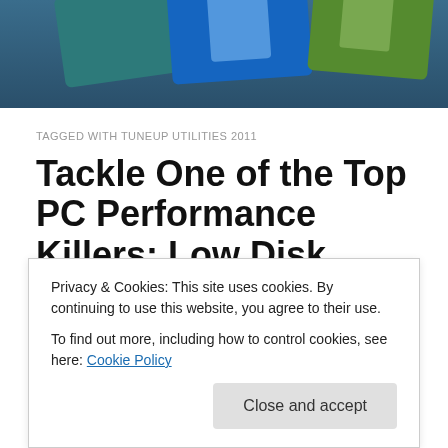[Figure (photo): Header image showing colorful floppy disks or CD cases (blue, green, teal) on a dark blue background]
TAGGED WITH TUNEUP UTILITIES 2011
Tackle One of the Top PC Performance Killers: Low Disk Space
In this article, guest writer Tibor Schiemann, President and Managing Partner of software developer TuneUp, (the
Privacy & Cookies: This site uses cookies. By continuing to use this website, you agree to their use.
To find out more, including how to control cookies, see here: Cookie Policy